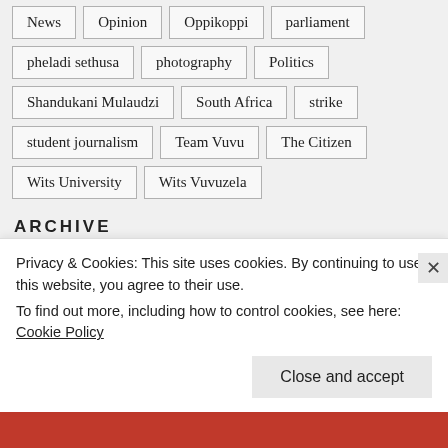News
Opinion
Oppikoppi
parliament
pheladi sethusa
photography
Politics
Shandukani Mulaudzi
South Africa
strike
student journalism
Team Vuvu
The Citizen
Wits University
Wits Vuvuzela
ARCHIVE
Select Month
Privacy & Cookies: This site uses cookies. By continuing to use this website, you agree to their use.
To find out more, including how to control cookies, see here: Cookie Policy
Close and accept